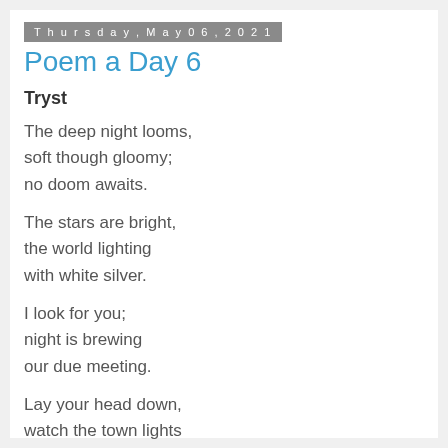Thursday, May 06, 2021
Poem a Day 6
Tryst
The deep night looms,
soft though gloomy;
no doom awaits.
The stars are bright,
the world lighting
with white silver.
I look for you;
night is brewing
our due meeting.
Lay your head down,
watch the town lights
and crown my heart.